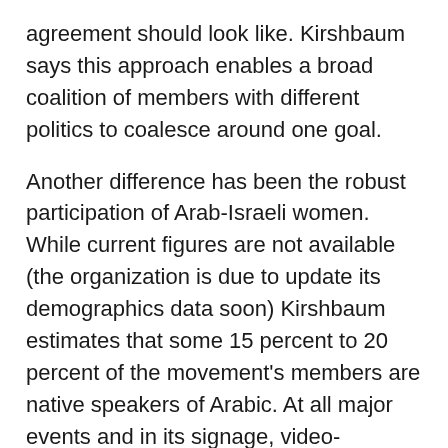agreement should look like. Kirshbaum says this approach enables a broad coalition of members with different politics to coalesce around one goal.
Another difference has been the robust participation of Arab-Israeli women. While current figures are not available (the organization is due to update its demographics data soon) Kirshbaum estimates that some 15 percent to 20 percent of the movement's members are native speakers of Arabic. At all major events and in its signage, video-captioning, newsletters, announcements and public statements, both Hebrew and Arabic are used.
Since Israeli law currently prohibits non-citizens from membership in an Israeli nonprofit, Palestinian women living in the West Bank are precluded from joining. Still,